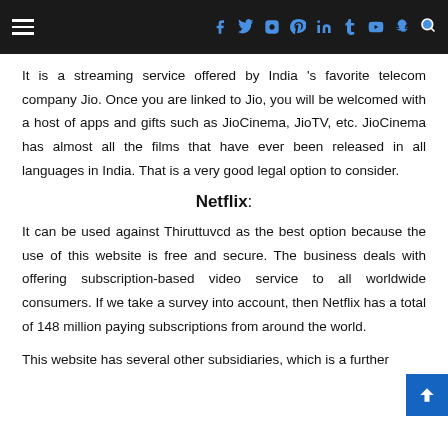☰ [social icons: f, twitter, instagram, pinterest, linkedin, tumblr, youtube, snapchat] [search]
It is a streaming service offered by India 's favorite telecom company Jio. Once you are linked to Jio, you will be welcomed with a host of apps and gifts such as JioCinema, JioTV, etc. JioCinema has almost all the films that have ever been released in all languages in India. That is a very good legal option to consider.
Netflix:
It can be used against Thiruttuvcd as the best option because the use of this website is free and secure. The business deals with offering subscription-based video service to all worldwide consumers. If we take a survey into account, then Netflix has a total of 148 million paying subscriptions from around the world.
This website has several other subsidiaries, which is a further